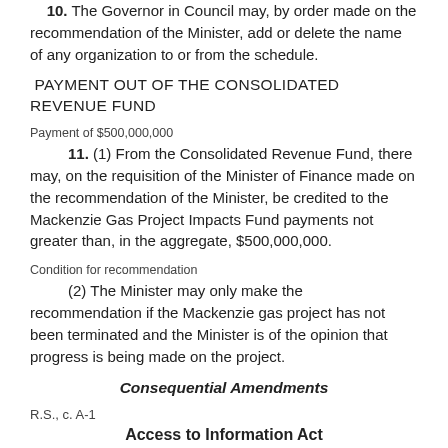10. The Governor in Council may, by order made on the recommendation of the Minister, add or delete the name of any organization to or from the schedule.
PAYMENT OUT OF THE CONSOLIDATED REVENUE FUND
Payment of $500,000,000
11. (1) From the Consolidated Revenue Fund, there may, on the requisition of the Minister of Finance made on the recommendation of the Minister, be credited to the Mackenzie Gas Project Impacts Fund payments not greater than, in the aggregate, $500,000,000.
Condition for recommendation
(2) The Minister may only make the recommendation if the Mackenzie gas project has not been terminated and the Minister is of the opinion that progress is being made on the project.
Consequential Amendments
R.S., c. A-1
Access to Information Act